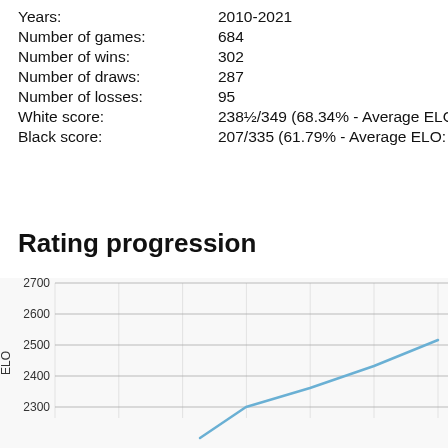Years: 2010-2021
Number of games: 684
Number of wins: 302
Number of draws: 287
Number of losses: 95
White score: 238½/349 (68.34% - Average ELO: 239…
Black score: 207/335 (61.79% - Average ELO: 2410…
Rating progression
[Figure (line-chart): Line chart showing ELO rating progression over time from approximately 2010 to 2021. The line starts below 2300 and rises steeply to around 2400-2450 range, continuing upward toward the right edge. Y-axis labels: 2300, 2400, 2500, 2600, 2700. The line is light blue.]